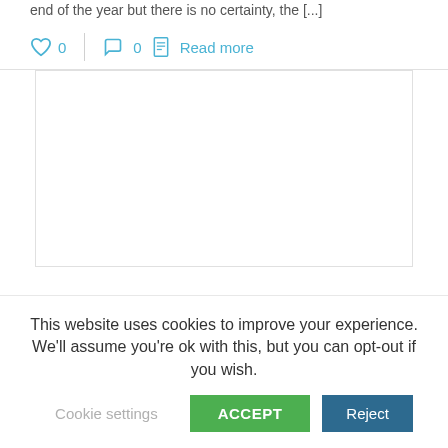end of the year but there is no certainty, the [...]
♡ 0   💬 0   📄 Read more
[Figure (other): Empty white content box with light gray border]
This website uses cookies to improve your experience. We'll assume you're ok with this, but you can opt-out if you wish.
Cookie settings   ACCEPT   Reject